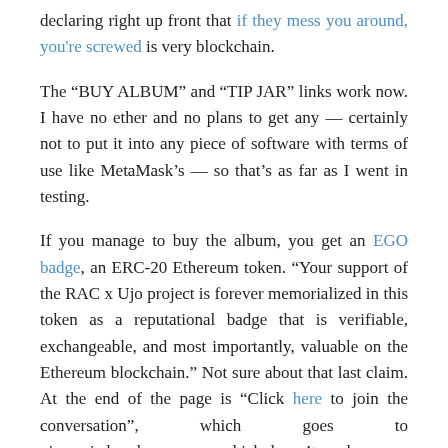declaring right up front that if they mess you around, you're screwed is very blockchain.
The “BUY ALBUM” and “TIP JAR” links work now. I have no ether and no plans to get any — certainly not to put it into any piece of software with terms of use like MetaMask’s — so that’s as far as I went in testing.
If you manage to buy the album, you get an EGO badge, an ERC-20 Ethereum token. “Your support of the RAC x Ujo project is forever memorialized in this token as a reputational badge that is verifiable, exchangeable, and most importantly, valuable on the Ethereum blockchain.” Not sure about that last claim. At the end of the page is “Click here to join the conversation”, which goes to ujomusic.herokuapp.com, which doesn’t work.
The Ujo Music site itself shows similar care and attention to detail. The first thing on it is “In 2015 Imogen Heap collaborated with Ujo to demonstrate how Ethereum could usher in a modern music supply chain built on a backbone of prompt and